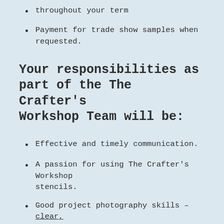throughout your term
Payment for trade show samples when requested.
Your responsibilities as part of the The Crafter's Workshop Team will be:
Effective and timely communication.
A passion for using The Crafter's Workshop stencils.
Good project photography skills – clear, properly exposed photos are mandatory.
2-3 projects per month consisting of (but not including all every month) blog posts on TCW blog, Instagram, and blog and Crafter's...